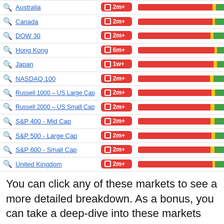| Market | Badge | Bar |
| --- | --- | --- |
| Australia | 2m+ | red-bar |
| Canada | 2m+ | red-bar |
| DOW 30 | 2m+ | red-bar |
| Hong Kong | 6m+ | red-bar |
| Japan | 1w+ | red-bar |
| NASDAQ 100 | 2m+ | red-bar |
| Russell 1000 – US Large Cap | 2m+ | red-bar |
| Russell 2000 – US Small Cap | 2m+ | red-bar |
| S&P 400 - Mid Cap | 2m+ | red-bar |
| S&P 500 - Large Cap | 2m+ | red-bar |
| S&P 600 - Small Cap | 2m+ | red-bar |
| United Kingdom | 2m+ | red-bar |
You can click any of these markets to see a more detailed breakdown. As a bonus, you can take a deep-dive into these markets anytime you see a blue pair of binoculars. Clicking the binocular icon brings you to the Stock Finder. From there, you can review the stocks